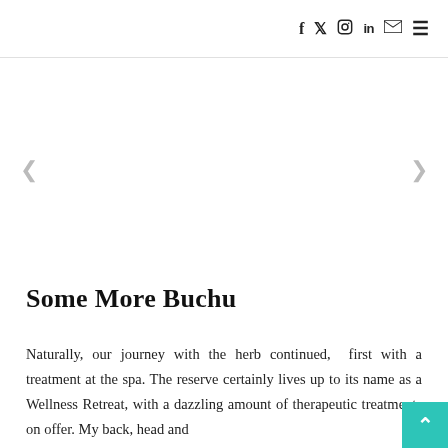f  𝕏  ⊙  in  ✉  ≡
[Figure (other): Navigation arrows (left chevron and right chevron) for a carousel or slideshow region, with a large white/empty image area between them.]
Some More Buchu
Naturally, our journey with the herb continued,  first with a treatment at the spa. The reserve certainly lives up to its name as a Wellness Retreat, with a dazzling amount of therapeutic treatments on offer. My back, head and